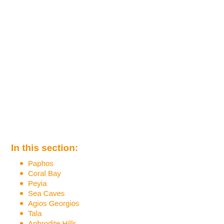In this section:
Paphos
Coral Bay
Peyia
Sea Caves
Agios Georgios
Tala
Aphrodite Hills